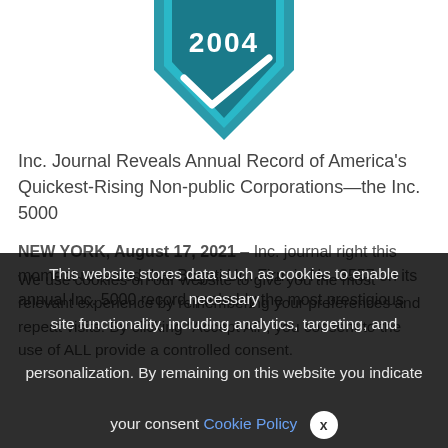[Figure (logo): Teal/dark teal downward-pointing chevron/shield badge shape with '2004' text inside, partially visible at top of page]
Inc. Journal Reveals Annual Record of America's Quickest-Rising Non-public Corporations—the Inc. 5000
NEW YORK, August 17, 2021 – Inc. journal right this moment revealed that Bogati Urn Firm is No. 3557 on its annual Inc. 5000 record, probably the most prestigious
We use cookies on our website to give you the most relevant experience by remembering your preferences and repeat visits. By clicking "Accept All", you consent to the use of ALL provide a controlled consent.
This website stores data such as cookies to enable necessary site functionality, including analytics, targeting, and personalization. By remaining on this website you indicate your consent Cookie Policy  ✕